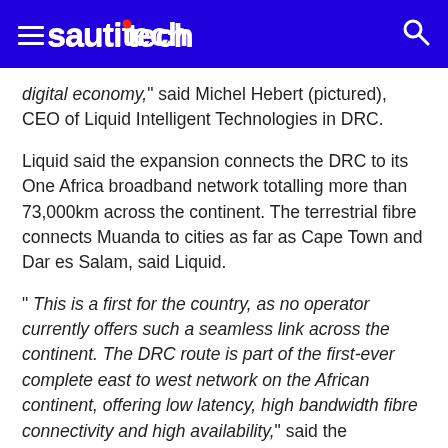sautitech
digital economy," said Michel Hebert (pictured), CEO of Liquid Intelligent Technologies in DRC.
Liquid said the expansion connects the DRC to its One Africa broadband network totalling more than 73,000km across the continent. The terrestrial fibre connects Muanda to cities as far as Cape Town and Dar es Salam, said Liquid.
" This is a first for the country, as no operator currently offers such a seamless link across the continent. The DRC route is part of the first-ever complete east to west network on the African continent, offering low latency, high bandwidth fibre connectivity and high availability," said the company.
Apparently, the fibre has reduced latency across Africa from 250ms to 50ms.